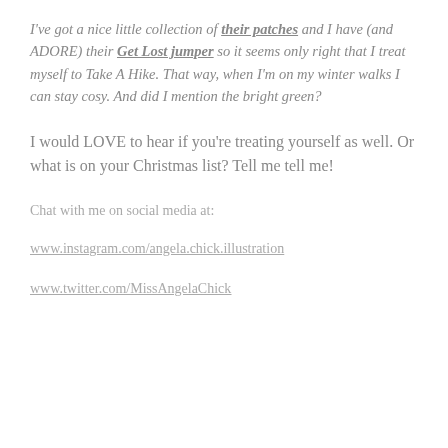I've got a nice little collection of their patches and I have (and ADORE) their Get Lost jumper so it seems only right that I treat myself to Take A Hike. That way, when I'm on my winter walks I can stay cosy. And did I mention the bright green?
I would LOVE to hear if you're treating yourself as well. Or what is on your Christmas list? Tell me tell me!
Chat with me on social media at:
www.instagram.com/angela.chick.illustration
www.twitter.com/MissAngelaChick